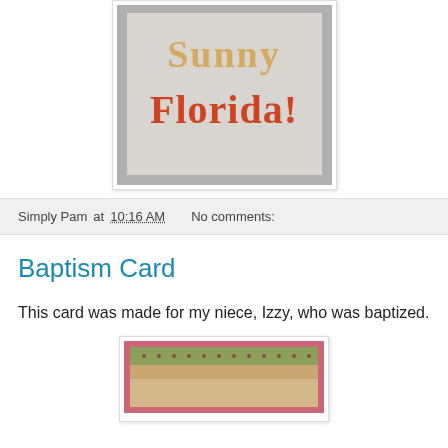[Figure (photo): Photo of a craft card or sign with the text 'Sunny Florida!' written in decorative letters — 'Sunny' in tan/gold and 'Florida!' in red/orange, on a light gray background.]
Simply Pam at 10:16 AM   No comments:
Baptism Card
This card was made for my niece, Izzy, who was baptized.
[Figure (photo): Partial photo of a handmade baptism card with pink border and decorative dot/stamp patterns, partially visible at bottom of page.]